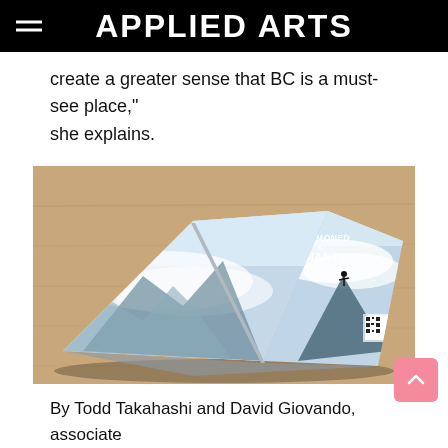APPLIED ARTS
create a greater sense that BC is a must-see place," she explains.
[Figure (photo): An open magazine/brochure mockup lying on a wooden surface. The spread shows a dramatic mountain landscape with clouds and a small human silhouette on a peak. Text on the right page reads 'SUMMONED BY GIANTS'. A QR code is visible on the right page corner.]
By Todd Takahashi and David Giovando, associate